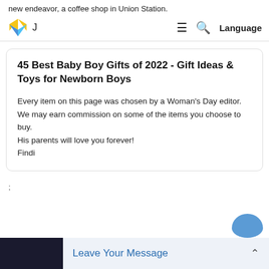new endeavor, a coffee shop in Union Station.
J  ≡  🔍  Language
45 Best Baby Boy Gifts of 2022 - Gift Ideas & Toys for Newborn Boys
Every item on this page was chosen by a Woman's Day editor. We may earn commission on some of the items you choose to buy.
His parents will love you forever!
Findi
;
Leave Your Message